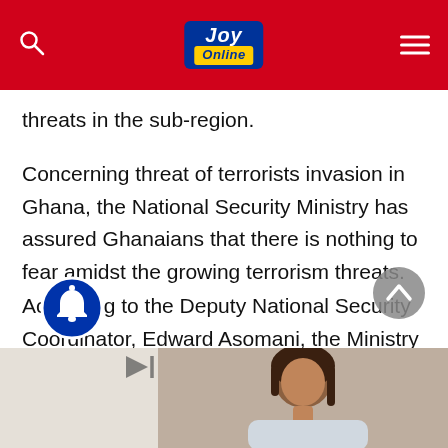Joy Online
threats in the sub-region.
Concerning threat of terrorists invasion in Ghana, the National Security Ministry has assured Ghanaians that there is nothing to fear amidst the growing terrorism threats.
According to the Deputy National Security Coordinator, Edward Asomani, the Ministry is on top of the situation.
[Figure (photo): Advertisement banner with woman's photo at the bottom of the page]